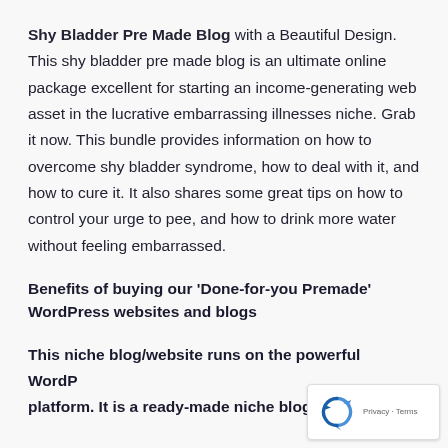Shy Bladder Pre Made Blog with a Beautiful Design. This shy bladder pre made blog is an ultimate online package excellent for starting an income-generating web asset in the lucrative embarrassing illnesses niche. Grab it now. This bundle provides information on how to overcome shy bladder syndrome, how to deal with it, and how to cure it. It also shares some great tips on how to control your urge to pee, and how to drink more water without feeling embarrassed.
Benefits of buying our 'Done-for-you Premade' WordPress websites and blogs
This niche blog/website runs on the powerful WordPress platform. It is a ready-made niche blog with loads of
[Figure (logo): Google reCAPTCHA badge with recycling-arrow logo and 'Privacy - Terms' text]